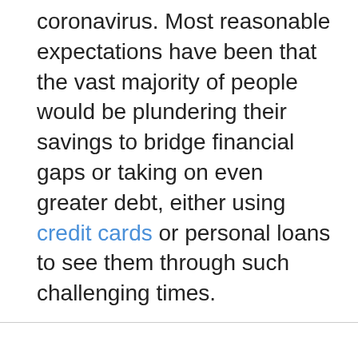coronavirus. Most reasonable expectations have been that the vast majority of people would be plundering their savings to bridge financial gaps or taking on even greater debt, either using credit cards or personal loans to see them through such challenging times.